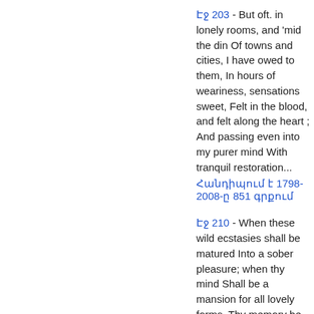Էջ 203 - But oft. in lonely rooms, and 'mid the din Of towns and cities, I have owed to them, In hours of weariness, sensations sweet, Felt in the blood, and felt along the heart ; And passing even into my purer mind With tranquil restoration... Հանդիպում է 1798-2008-ը 851 գրքում
Էջ 210 - When these wild ecstasies shall be matured Into a sober pleasure; when thy mind Shall be a mansion for all lovely forms, Thy memory be as a dwelling-place For all